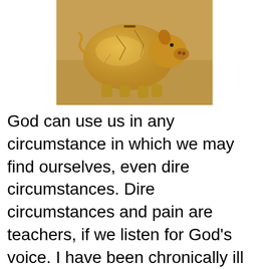[Figure (photo): A broken or cracked golden piggy bank lying on sandy/rocky ground, photographed from above at an angle.]
God can use us in any circumstance in which we may find ourselves, even dire circumstances. Dire circumstances and pain are teachers, if we listen for God's voice. I have been chronically ill and physically disabled with severe multiple sclerosis for over 36 years—more than half of my life. Strangely, I have been more use to God disabled than I ever was able-bodied. It was at a certain point of disability and sorrow that I